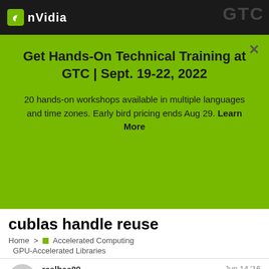NVIDIA
Get Hands-On Technical Training at GTC | Sept. 19-22, 2022
20 hands-on workshops available in multiple languages and time zones. Early bird pricing ends Aug 29. Learn More
cublas handle reuse
Home > Accelerated Computing > GPU-Accelerated Libraries
realbas89  Jun 14 '16  1/4